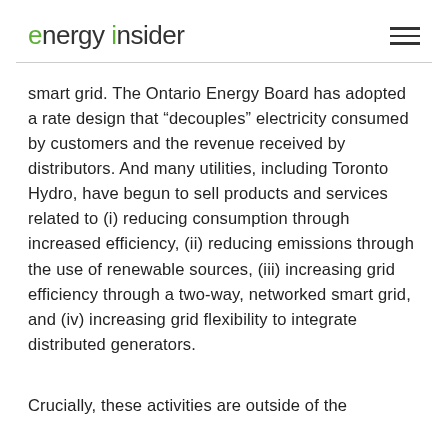energy insider
smart grid. The Ontario Energy Board has adopted a rate design that “decouples” electricity consumed by customers and the revenue received by distributors. And many utilities, including Toronto Hydro, have begun to sell products and services related to (i) reducing consumption through increased efficiency, (ii) reducing emissions through the use of renewable sources, (iii) increasing grid efficiency through a two-way, networked smart grid, and (iv) increasing grid flexibility to integrate distributed generators.
Crucially, these activities are outside of the